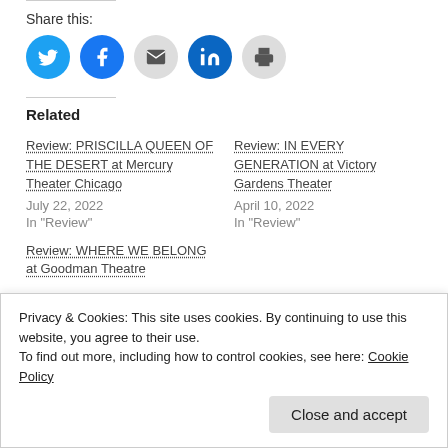Share this:
[Figure (infographic): Social sharing icons: Twitter (blue), Facebook (blue), Email (gray), LinkedIn (dark blue), Print (gray)]
Related
Review: PRISCILLA QUEEN OF THE DESERT at Mercury Theater Chicago
July 22, 2022
In "Review"
Review: IN EVERY GENERATION at Victory Gardens Theater
April 10, 2022
In "Review"
Review: WHERE WE BELONG at Goodman Theatre
Privacy & Cookies: This site uses cookies. By continuing to use this website, you agree to their use.
To find out more, including how to control cookies, see here: Cookie Policy